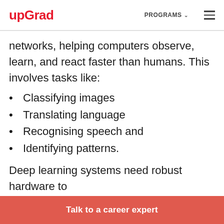upGrad | PROGRAMS ☰
networks, helping computers observe, learn, and react faster than humans. This involves tasks like:
Classifying images
Translating language
Recognising speech and
Identifying patterns.
Deep learning systems need robust hardware to
Talk to a career expert